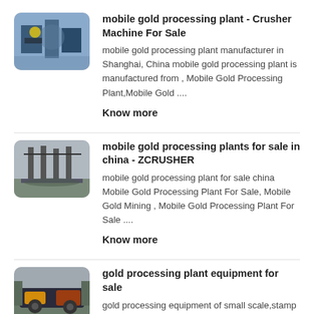[Figure (photo): Industrial machinery/crusher equipment photo thumbnail]
mobile gold processing plant - Crusher Machine For Sale
mobile gold processing plant manufacturer in Shanghai, China mobile gold processing plant is manufactured from , Mobile Gold Processing Plant,Mobile Gold ....
Know more
[Figure (photo): Mining equipment/plant photo thumbnail]
mobile gold processing plants for sale in china - ZCRUSHER
mobile gold processing plant for sale china Mobile Gold Processing Plant For Sale, Mobile Gold Mining , Mobile Gold Processing Plant For Sale ....
Know more
[Figure (photo): Gold processing plant equipment photo thumbnail]
gold processing plant equipment for sale
gold processing equipment of small scale,stamp mill China , We are a gold processing equipment , Gold Mining Equipment for Sale, Mobile Gold Processing Plant ....
Know more